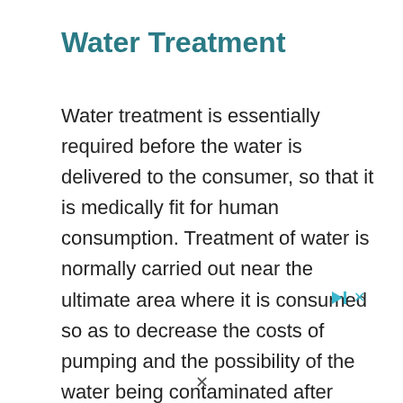Water Treatment
Water treatment is essentially required before the water is delivered to the consumer, so that it is medically fit for human consumption. Treatment of water is normally carried out near the ultimate area where it is consumed so as to decrease the costs of pumping and the possibility of the water being contaminated after treatment. The process of water treatment includes the